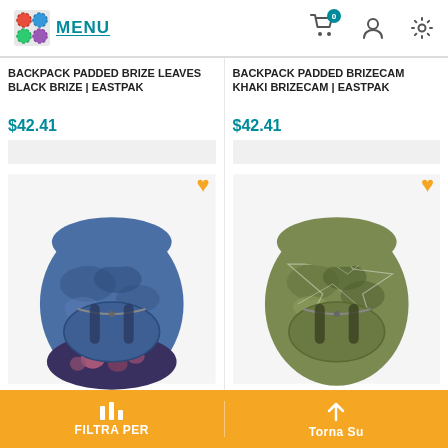MENU | Cart (0) | User | Settings
BACKPACK PADDED BRIZE LEAVES BLACK BRIZE | EASTPAK
$42.41
[Figure (photo): Blue camouflage pattern backpack with floral bottom section (Eastpak Padded Brize Leaves Black Brize)]
BACKPACK PADDED BRIZECAM KHAKI BRIZECAM | EASTPAK
$42.41
[Figure (photo): Olive/khaki camouflage pattern backpack with geometric line overlay (Eastpak Padded Brizecam Khaki Brizecam)]
FILTRA PER | Torna Su